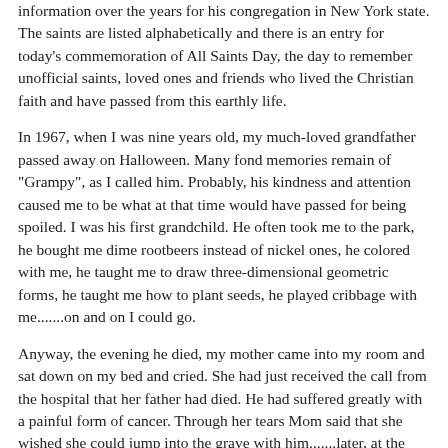information over the years for his congregation in New York state. The saints are listed alphabetically and there is an entry for today's commemoration of All Saints Day, the day to remember unofficial saints, loved ones and friends who lived the Christian faith and have passed from this earthly life.
In 1967, when I was nine years old, my much-loved grandfather passed away on Halloween. Many fond memories remain of "Grampy", as I called him. Probably, his kindness and attention caused me to be what at that time would have passed for being spoiled. I was his first grandchild. He often took me to the park, he bought me dime rootbeers instead of nickel ones, he colored with me, he taught me to draw three-dimensional geometric forms, he taught me how to plant seeds, he played cribbage with me.......on and on I could go.
Anyway, the evening he died, my mother came into my room and sat down on my bed and cried. She had just received the call from the hospital that her father had died. He had suffered greatly with a painful form of cancer. Through her tears Mom said that she wished she could jump into the grave with him.......later, at the committal service in the cemetery, my childish mind actually did entertain the possibility of Mom jumping into the grave with the